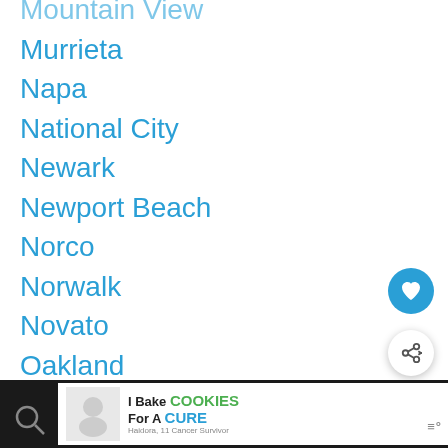Mountain View
Murrieta
Napa
National City
Newark
Newport Beach
Norco
Norwalk
Novato
Oakland
Oakley
Oceanside
Ontario
Orange
[Figure (screenshot): Cookie fundraiser advertisement banner at bottom of screen]